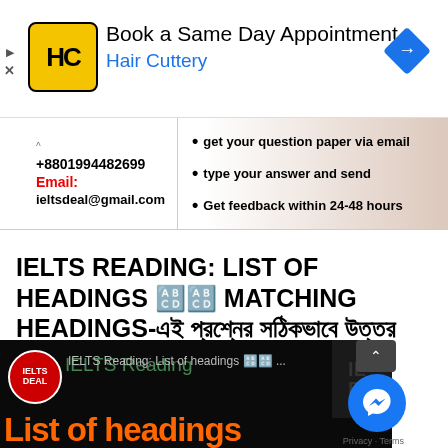[Figure (screenshot): Hair Cuttery advertisement banner with logo, text 'Book a Same Day Appointment', 'Hair Cuttery', and a blue navigation arrow icon]
[Figure (screenshot): IELTS Deal info box with phone number +8801994482699, email ieltsdeal@gmail.com, and bullet points about getting question paper via email, typing answer and sending, and getting feedback within 24-48 hours]
IELTS READING: LIST OF HEADINGS 🔠 MATCHING HEADINGS-এই প্রশ্নের সঠিকভাবে উত্তর দেওয়া; অপরিহার্য কৌশল
[Figure (screenshot): Video thumbnail showing IELTS Deal logo and text 'IELTS Reading: List of headings 🔠 ...' with 'List of headings' in orange text on black background]